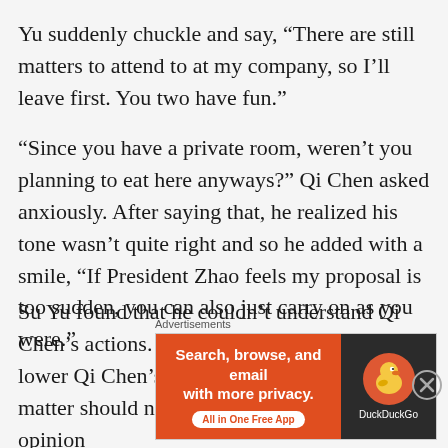Yu suddenly chuckle and say, “There are still matters to attend to at my company, so I’ll leave first. You two have fun.”
“Since you have a private room, weren’t you planning to eat here anyways?” Qi Chen asked anxiously. After saying that, he realized his tone wasn’t quite right and so he added with a smile, “If President Zhao feels my proposal is too sudden, you can also just carry on as you were.”
Su Yu found that he couldn’t understand Qi Chen’s actions. His purpose today was only to lower Qi Chen’s affections for Lu Manni. This matter should not have affected Qi Chen’s opinion
Advertisements
[Figure (infographic): DuckDuckGo advertisement banner with orange left side reading 'Search, browse, and email with more privacy. All in One Free App' and dark right side with DuckDuckGo duck logo]